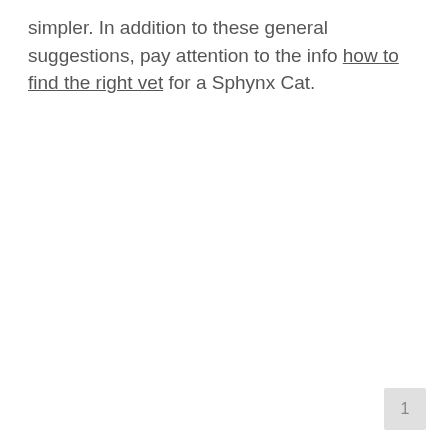simpler. In addition to these general suggestions, pay attention to the info how to find the right vet for a Sphynx Cat.
1